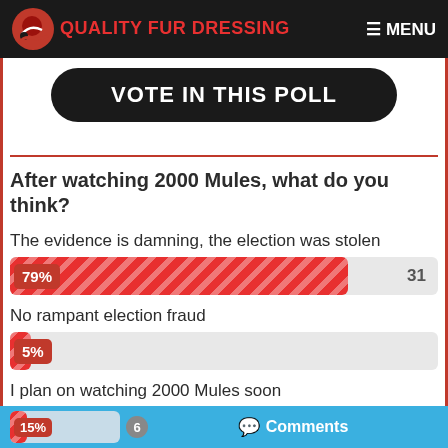QUALITY FUR DRESSING   ☰ MENU
[Figure (other): VOTE IN THIS POLL button (black rounded rectangle)]
After watching 2000 Mules, what do you think?
The evidence is damning, the election was stolen
[Figure (bar-chart): Poll results]
No rampant election fraud
I plan on watching 2000 Mules soon
15%  6  Comments